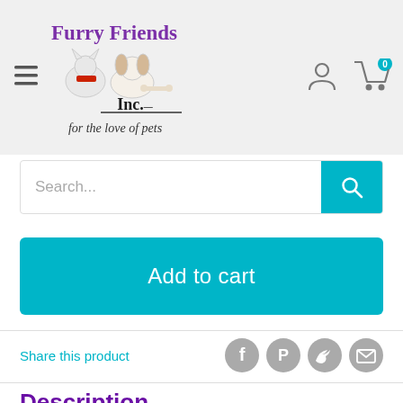Furry Friends Inc. - for the love of pets
Search...
Add to cart
Share this product
Description
NutriSource® Large Breed Puppy Chicken and Rice Formula provides super premium nutrition in a scientifically formulated